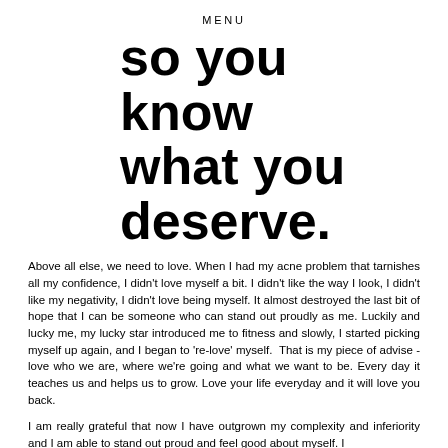MENU
so you know what you deserve.
Above all else, we need to love. When I had my acne problem that tarnishes all my confidence, I didn't love myself a bit. I didn't like the way I look, I didn't like my negativity, I didn't love being myself. It almost destroyed the last bit of hope that I can be someone who can stand out proudly as me. Luckily and lucky me, my lucky star introduced me to fitness and slowly, I started picking myself up again, and I began to 're-love' myself.  That is my piece of advise - love who we are, where we're going and what we want to be. Every day it teaches us and helps us to grow. Love your life everyday and it will love you back.
I am really grateful that now I have outgrown my complexity and inferiority and I am able to stand out proud and feel good about myself. I